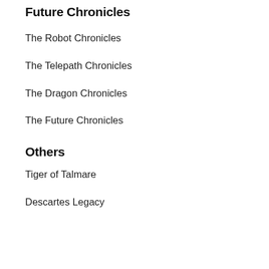Future Chronicles
The Robot Chronicles
The Telepath Chronicles
The Dragon Chronicles
The Future Chronicles
Others
Tiger of Talmare
Descartes Legacy